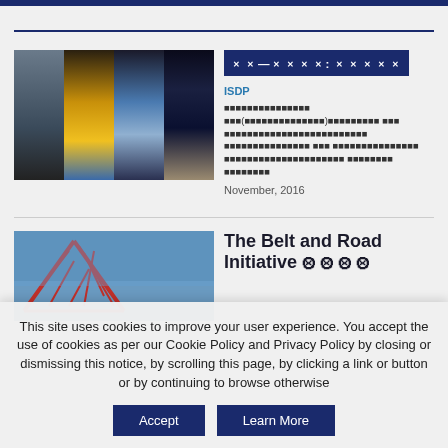[Figure (photo): Collage of four city nighttime photos showing landmarks and cityscapes]
XX—XXXX: XXXXX (redacted title with ISDP)
ISDP
Redacted body text in non-Latin script
November, 2016
[Figure (photo): Red bridge/construction structure photo]
The Belt and Road Initiative
This site uses cookies to improve your user experience. You accept the use of cookies as per our Cookie Policy and Privacy Policy by closing or dismissing this notice, by scrolling this page, by clicking a link or button or by continuing to browse otherwise
Accept | Learn More